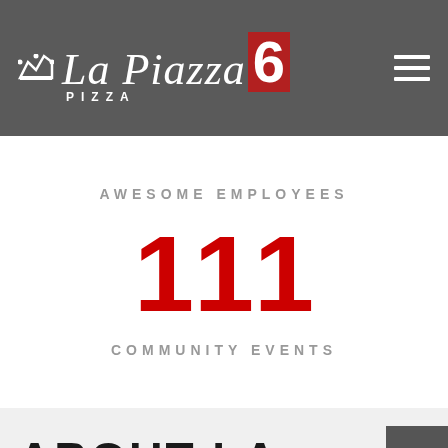La Piazza Pizza 6 — Navigation header with logo and hamburger menu
AWESOME EMPLOYEES
111
COMMUNITY EVENTS
ABOUT LA PIAZZA
[Figure (illustration): Chef hat icon with horizontal divider lines on each side]